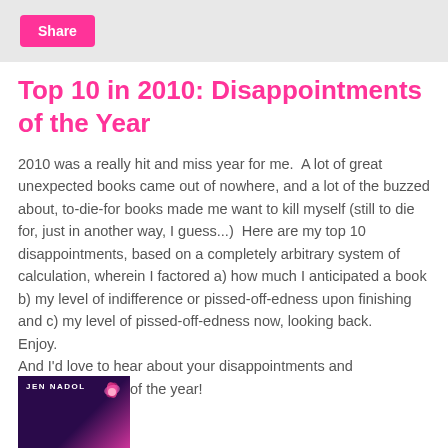Share
Top 10 in 2010: Disappointments of the Year
2010 was a really hit and miss year for me.  A lot of great unexpected books came out of nowhere, and a lot of the buzzed about, to-die-for books made me want to kill myself (still to die for, just in another way, I guess...)  Here are my top 10 disappointments, based on a completely arbitrary system of calculation, wherein I factored a) how much I anticipated a book b) my level of indifference or pissed-off-edness upon finishing and c) my level of pissed-off-edness now, looking back.
Enjoy.
And I'd love to hear about your disappointments and unexpected wins of the year!
[Figure (photo): Book cover showing 'JEN NADOL' text on a dark purple background with pink flower decorations]